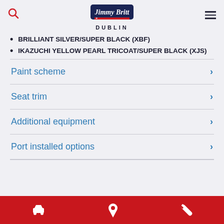Jimmy Britt DUBLIN
BRILLIANT SILVER/SUPER BLACK (XBF)
IKAZUCHI YELLOW PEARL TRICOAT/SUPER BLACK (XJS)
Paint scheme
Seat trim
Additional equipment
Port installed options
Navigation bar with car, location, and wrench icons